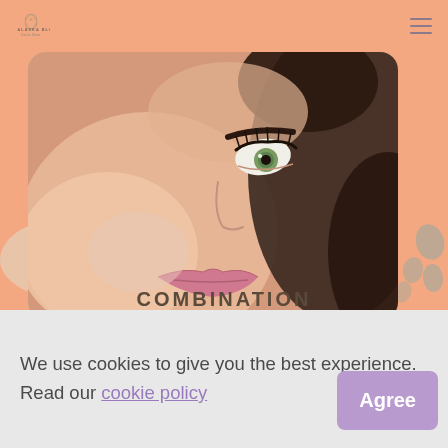ALASKA BLOOM / Cassie Tatoo
[Figure (photo): Close-up photo of a woman's face looking upward, showing one green eye with long lashes, a defined dark eyebrow, pink lips, and dark curly hair. The image is displayed in a rounded rectangle on a peach/salmon background.]
COMBINATION
We use cookies to give you the best experience. Read our cookie policy
Agree